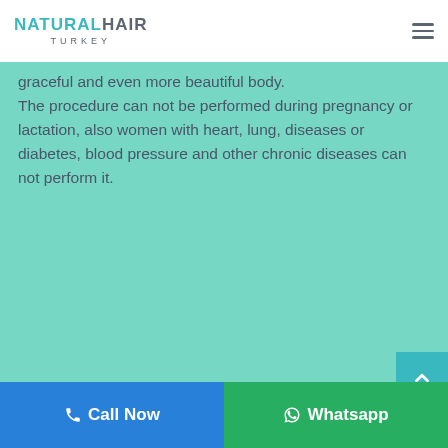NATURALHAIR TURKEY
graceful and even more beautiful body. The procedure can not be performed during pregnancy or lactation, also women with heart, lung, diseases or diabetes, blood pressure and other chronic diseases can not perform it.
Call Now   Whatsapp